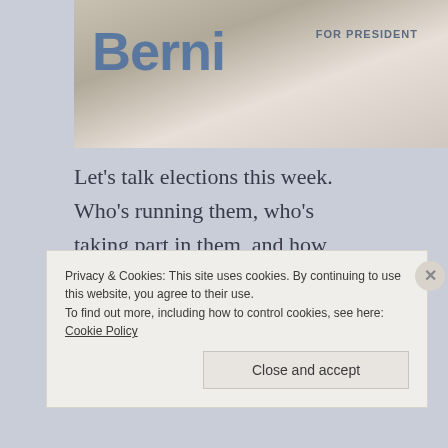[Figure (photo): Photo showing people wearing Bernie Sanders and 'For President' campaign t-shirts, partially cropped]
Let's talk elections this week. Who's running them, who's taking part in them, and how some people want to change them. This week on Open Sources Guelph, we will dive back into the U.S. Presidential Election, not for the last time, to talk about the end of the primary process, but maybe we should rename this segment “What stupid thing has Trump said now?” Meanwhile, a key Canadian political figure threw her support behind
Privacy & Cookies: This site uses cookies. By continuing to use this website, you agree to their use.
To find out more, including how to control cookies, see here: Cookie Policy
Close and accept